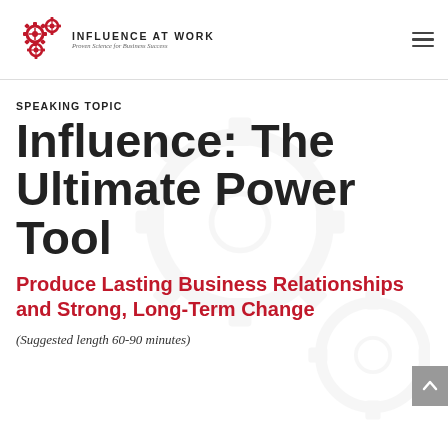INFLUENCE AT WORK — Proven Science for Business Success
SPEAKING TOPIC
Influence: The Ultimate Power Tool
Produce Lasting Business Relationships and Strong, Long-Term Change
(Suggested length 60-90 minutes)